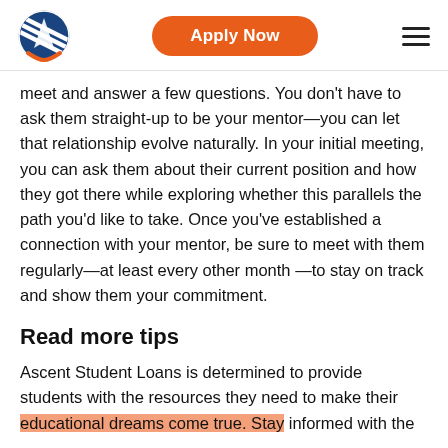Apply Now
meet and answer a few questions. You don't have to ask them straight-up to be your mentor—you can let that relationship evolve naturally. In your initial meeting, you can ask them about their current position and how they got there while exploring whether this parallels the path you'd like to take. Once you've established a connection with your mentor, be sure to meet with them regularly—at least every other month —to stay on track and show them your commitment.
Read more tips
Ascent Student Loans is determined to provide students with the resources they need to make their educational dreams come true. Stay informed with the